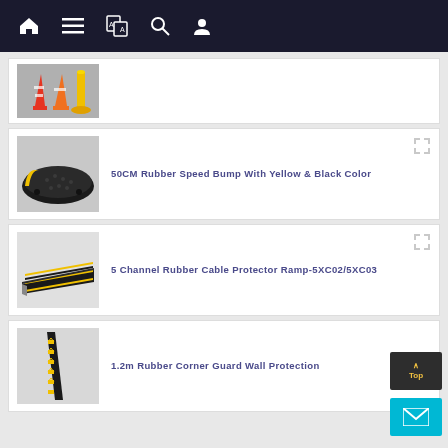Navigation bar with home, menu, translate, search, and account icons
[Figure (photo): Partial product card showing traffic cones (red and yellow) on grey surface]
[Figure (photo): 50CM Rubber Speed Bump with yellow and black color - black rubber speed bump product photo]
50CM Rubber Speed Bump With Yellow & Black Color
[Figure (photo): 5 Channel Rubber Cable Protector Ramp - yellow and black cable ramp product photo]
5 Channel Rubber Cable Protector Ramp-5XC02/5XC03
[Figure (photo): 1.2m Rubber Corner Guard Wall Protection - black and yellow chevron corner guard]
1.2m Rubber Corner Guard Wall Protection